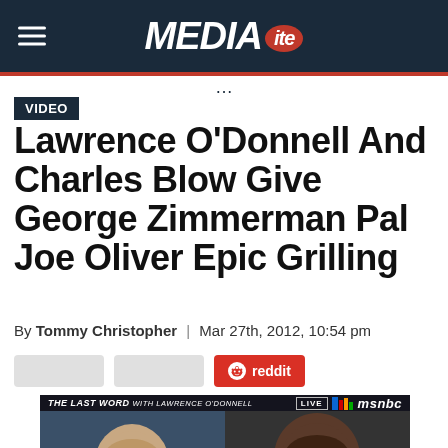MEDIAITE
VIDEO
Lawrence O'Donnell And Charles Blow Give George Zimmerman Pal Joe Oliver Epic Grilling
By Tommy Christopher | Mar 27th, 2012, 10:54 pm
[Figure (screenshot): Share buttons including two grey buttons and a Reddit share button]
[Figure (screenshot): MSNBC The Last Word with Lawrence O'Donnell LIVE broadcast showing two men side by side]